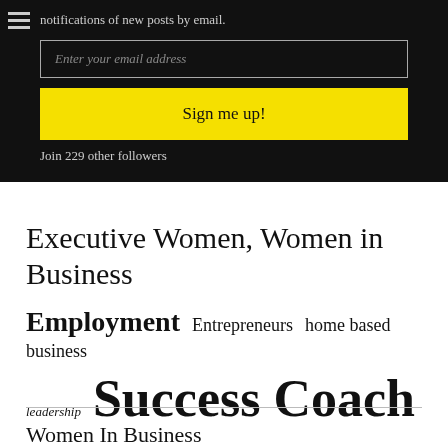notifications of new posts by email.
Enter your email address
Sign me up!
Join 229 other followers
Executive Women, Women in Business
Employment  Entrepreneurs  home based business
leadership  Success Coach
Women In Business